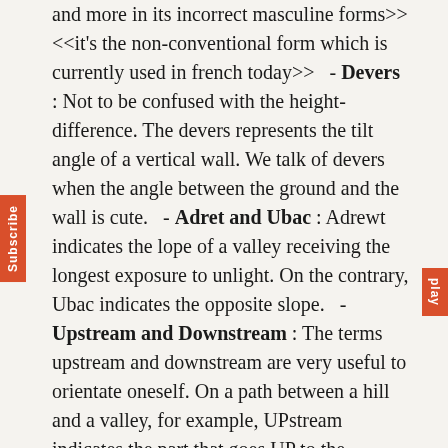and more in its incorrect masculine forms>> <<it's the non-conventional form which is currently used in french today>>   - Devers : Not to be confused with the height-difference. The devers represents the tilt angle of a vertical wall. We talk of devers when the angle between the ground and the wall is cute.   - Adret and Ubac : Adrewt indicates the lope of a valley receiving the longest exposure to unlight. On the contrary, Ubac indicates the opposite slope.   - Upstream and Downstream : The terms upstream and downstream are very useful to orientate oneself. On a path between a hill and a valley, for example, UPstream indicates the part that goes UP to the mountainl, while DOWNstream indicates the part that goes DOWN